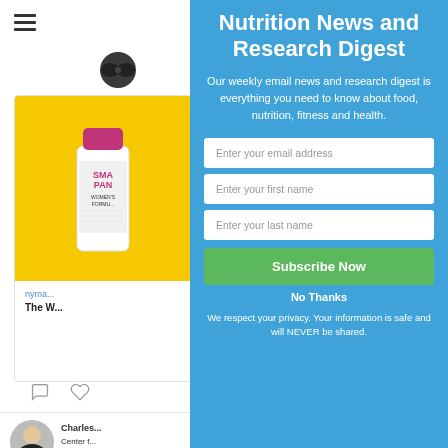[Figure (screenshot): Left panel showing a website with hamburger menu, profile avatar, supplement product card (Smart Pants Women's Formula bottle on yellow background), comment/like icons, and author section with Charles, Center and Research, foodme... link]
Nutrition News and Research Digest
Our weekly email news and research digest is everything you need to know about food, nutrition, fitness and health.
Enter your email address
Enter your first name
Enter your last name
Subscribe Now
No Thanks
We respect your privacy. Your information is safe and will NEVER be shared.